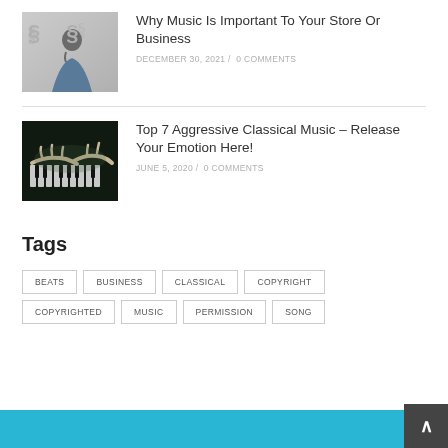[Figure (photo): Man in blue shirt thinking, with dollar signs in background]
Why Music Is Important To Your Store Or Business
DECEMBER 30, 2021 / 0 COMMENTS
[Figure (photo): Hands playing piano keys in dark, moody lighting]
Top 7 Aggressive Classical Music – Release Your Emotion Here!
JUNE 5, 2020 / 0 COMMENTS
Tags
BEATS
BUSINESS
CLASSICAL
COPYRIGHT
COPYRIGHTED
MUSIC
PERMISSION
SONG